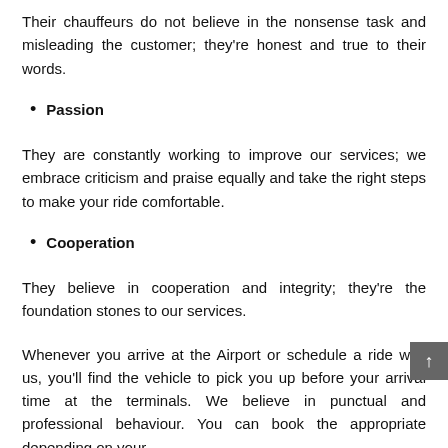Their chauffeurs do not believe in the nonsense task and misleading the customer; they're honest and true to their words.
Passion
They are constantly working to improve our services; we embrace criticism and praise equally and take the right steps to make your ride comfortable.
Cooperation
They believe in cooperation and integrity; they're the foundation stones to our services.
Whenever you arrive at the Airport or schedule a ride with us, you'll find the vehicle to pick you up before your arrival time at the terminals. We believe in punctual and professional behaviour. You can book the appropriate depending on your